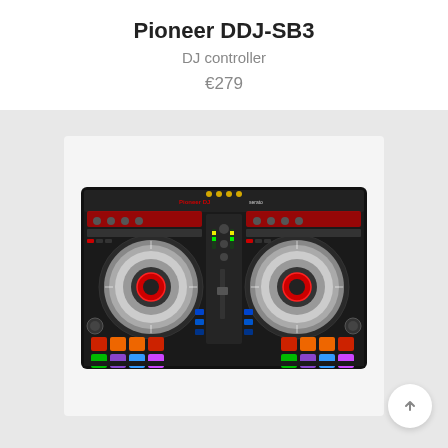Pioneer DDJ-SB3
DJ controller
€279
[Figure (photo): Pioneer DDJ-SB3 DJ controller, top-down view showing two large jog wheels with silver/chrome finish and red ring accents, colorful performance pads (red, orange, green, blue, purple), central mixer section with faders and knobs, and Pioneer DJ / Serato branding. Black body with illuminated controls.]